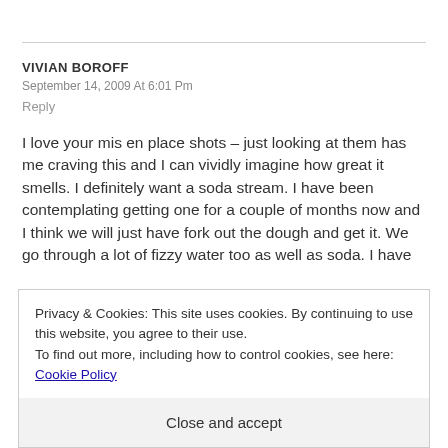VIVIAN BOROFF
September 14, 2009 At 6:01 Pm
Reply
I love your mis en place shots – just looking at them has me craving this and I can vividly imagine how great it smells. I definitely want a soda stream. I have been contemplating getting one for a couple of months now and I think we will just have fork out the dough and get it. We go through a lot of fizzy water too as well as soda. I have
Privacy & Cookies: This site uses cookies. By continuing to use this website, you agree to their use.
To find out more, including how to control cookies, see here: Cookie Policy
Close and accept